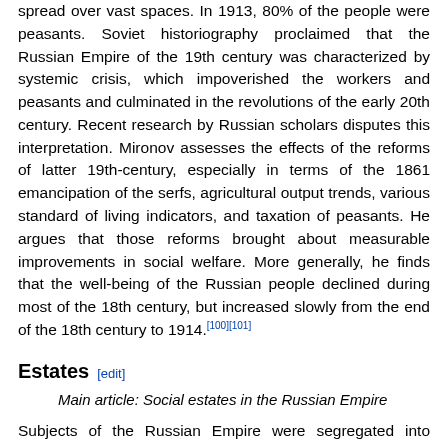spread over vast spaces. In 1913, 80% of the people were peasants. Soviet historiography proclaimed that the Russian Empire of the 19th century was characterized by systemic crisis, which impoverished the workers and peasants and culminated in the revolutions of the early 20th century. Recent research by Russian scholars disputes this interpretation. Mironov assesses the effects of the reforms of latter 19th-century, especially in terms of the 1861 emancipation of the serfs, agricultural output trends, various standard of living indicators, and taxation of peasants. He argues that those reforms brought about measurable improvements in social welfare. More generally, he finds that the well-being of the Russian people declined during most of the 18th century, but increased slowly from the end of the 18th century to 1914.[100][101]
Estates [edit]
Main article: Social estates in the Russian Empire
Subjects of the Russian Empire were segregated into sosloviyes, or social estates (classes) such as nobility (dvoryanstvo), clergy, merchants, cossacks, and